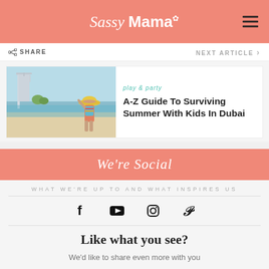Sassy Mama
SHARE   NEXT ARTICLE
[Figure (photo): Photo of Burj Al Arab and a child in a sun hat on a Dubai beach]
play & party
A-Z Guide To Surviving Summer With Kids In Dubai
We're Social
WHAT WE'RE UP TO AND WHAT INSPIRES US
[Figure (infographic): Social media icons: Facebook, YouTube, Instagram, Pinterest]
Like what you see?
We'd like to share even more with you